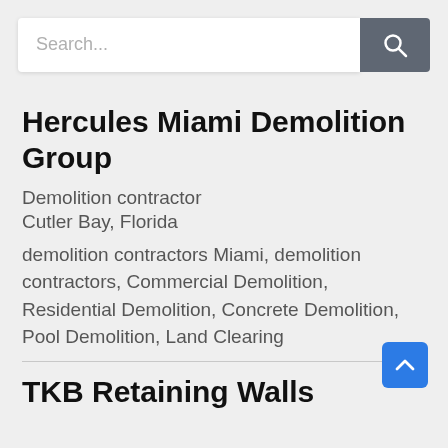[Figure (screenshot): Search bar with text input showing placeholder 'Search...' and a dark grey search button with a magnifying glass icon]
Hercules Miami Demolition Group
Demolition contractor
Cutler Bay, Florida
demolition contractors Miami, demolition contractors, Commercial Demolition, Residential Demolition, Concrete Demolition, Pool Demolition, Land Clearing
TKB Retaining Walls